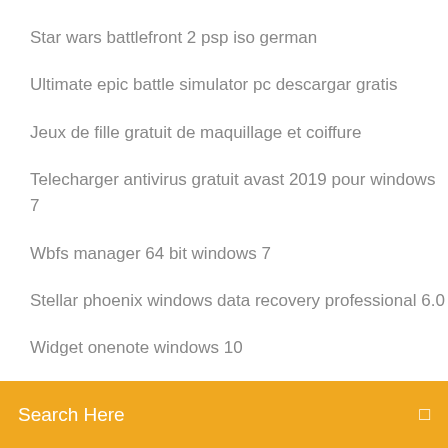Star wars battlefront 2 psp iso german
Ultimate epic battle simulator pc descargar gratis
Jeux de fille gratuit de maquillage et coiffure
Telecharger antivirus gratuit avast 2019 pour windows 7
Wbfs manager 64 bit windows 7
Stellar phoenix windows data recovery professional 6.0
Widget onenote windows 10
[Figure (other): Orange search bar with text 'Search Here' and a small icon on the right]
Need for speed most wanted pc télécharger windows 10
Télécharger nfs most wanted for pc rar
Realtek high definition audio driver windows 7 32 bit samsung
Hp deskjet 2542 all-in-one wifi printer driver
Win xp sp3 iso french
Application qui a visité mon profil whatsapp
Boite a rythme en ligne bossa nova
Ace of spades gameplay
Cannot install service pack 1 windows 7